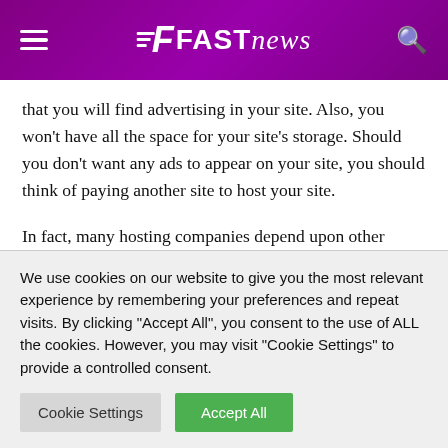FAST news
that you will find advertising in your site. Also, you won't have all the space for your site's storage. Should you don't want any ads to appear on your site, you should think of paying another site to host your site.
In fact, many hosting companies depend upon other major hosting companies to host. Internet hosting companies buy a great deal of storing space at the
We use cookies on our website to give you the most relevant experience by remembering your preferences and repeat visits. By clicking "Accept All", you consent to the use of ALL the cookies. However, you may visit "Cookie Settings" to provide a controlled consent.